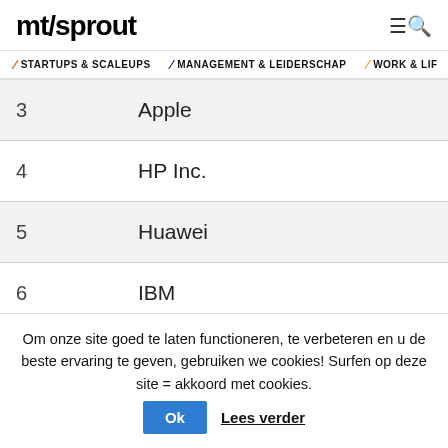mt/sprout
STARTUPS & SCALEUPS / MANAGEMENT & LEIDERSCHAP / WORK & LIF
| 3 | Apple |
| 4 | HP Inc. |
| 5 | Huawei |
| 6 | IBM |
| 7 | LG |
Om onze site goed te laten functioneren, te verbeteren en u de beste ervaring te geven, gebruiken we cookies! Surfen op deze site = akkoord met cookies.  Ok  Lees verder